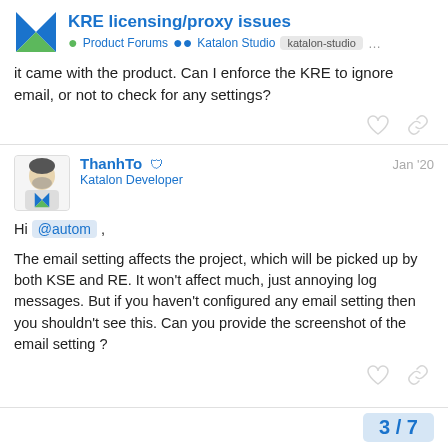KRE licensing/proxy issues · Product Forums · Katalon Studio · katalon-studio
it came with the product. Can I enforce the KRE to ignore email, or not to check for any settings?
ThanhTo · Katalon Developer · Jan '20
Hi @autom ,

The email setting affects the project, which will be picked up by both KSE and RE. It won't affect much, just annoying log messages. But if you haven't configured any email setting then you shouldn't see this. Can you provide the screenshot of the email setting ?
3 / 7